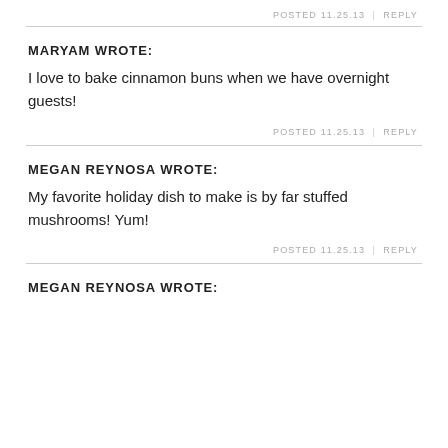POSTED 11.25.13 | REPLY
MARYAM WROTE:
I love to bake cinnamon buns when we have overnight guests!
POSTED 11.25.13 | REPLY
MEGAN REYNOSA WROTE:
My favorite holiday dish to make is by far stuffed mushrooms! Yum!
POSTED 11.25.13 | REPLY
MEGAN REYNOSA WROTE: